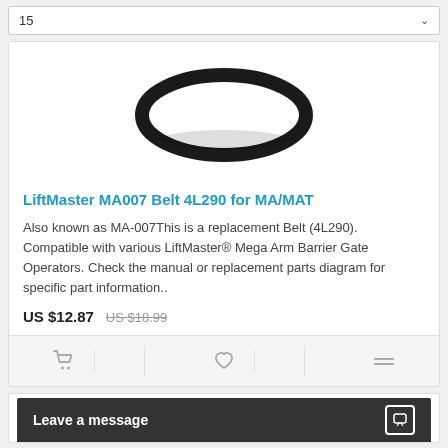15
[Figure (photo): A black rubber drive belt (4L290) shown as an oval loop against white background]
LiftMaster MA007 Belt 4L290 for MA/MAT
Also known as MA-007This is a replacement Belt (4L290). Compatible with various LiftMaster® Mega Arm Barrier Gate Operators. Check the manual or replacement parts diagram for specific part information..
US $12.87  US $18.99
Leave a message